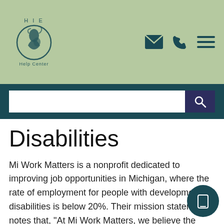[Figure (logo): HIE Help Center logo with mother and child imagery, sage green background]
[Figure (screenshot): Search bar with white input field and dark purple search button with magnifying glass icon]
Disabilities
Mi Work Matters is a nonprofit dedicated to improving job opportunities in Michigan, where the rate of employment for people with developmental disabilities is below 20%. Their mission statement notes that, "At Mi Work Matters, we believe the hopes, dreams and talents of every person matt... In order to help bridge the employment gap [...]